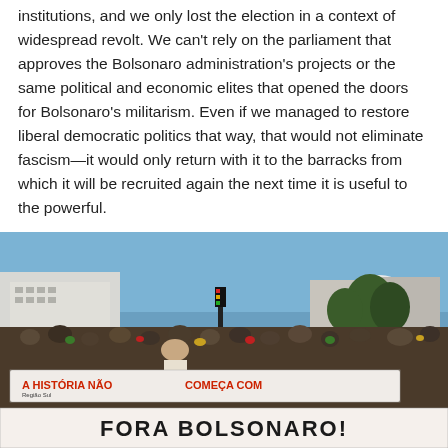institutions, and we only lost the election in a context of widespread revolt. We can't rely on the parliament that approves the Bolsonaro administration's projects or the same political and economic elites that opened the doors for Bolsonaro's militarism. Even if we managed to restore liberal democratic politics that way, that would not eliminate fascism—it would only return with it to the barracks from which it will be recruited again the next time it is useful to the powerful.
[Figure (photo): Large outdoor protest rally with a dense crowd of people. In the foreground, protesters hold a large white banner reading 'A HISTÓRIA NÃO COMEÇA COM' and below it 'FORA BOLSONARO!' A smaller sign reads 'Região Sul'. Many protesters are in indigenous dress. Buildings and trees are visible in the background under a blue sky.]